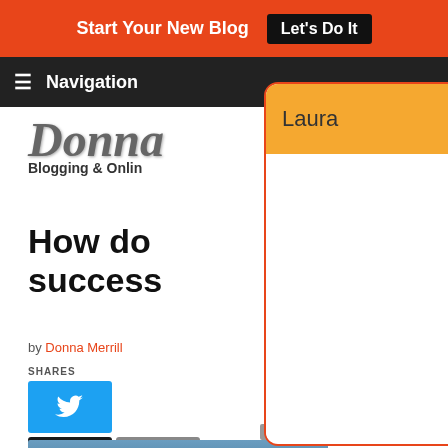Start Your New Blog  Let's Do It
Navigation
[Figure (screenshot): Website logo: 'Donna' in italic script with tagline 'Blogging & Online']
How do success
by Donna Merrill
SHARES
[Figure (screenshot): Popup modal with orange header labeled 'Laura', flag icon button, minus button, and close X button. White body content area with red border.]
Powered By Steady Stream Leads